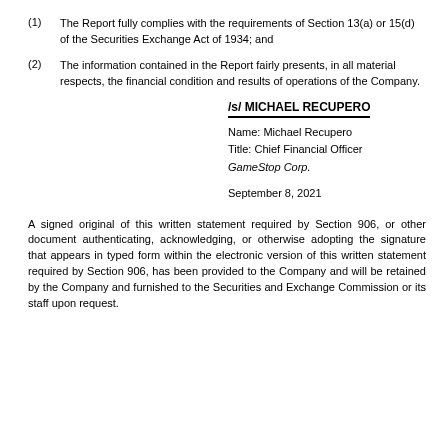(1) The Report fully complies with the requirements of Section 13(a) or 15(d) of the Securities Exchange Act of 1934; and
(2) The information contained in the Report fairly presents, in all material respects, the financial condition and results of operations of the Company.
/s/ MICHAEL RECUPERO
Name: Michael Recupero
Title: Chief Financial Officer
GameStop Corp.

September 8, 2021
A signed original of this written statement required by Section 906, or other document authenticating, acknowledging, or otherwise adopting the signature that appears in typed form within the electronic version of this written statement required by Section 906, has been provided to the Company and will be retained by the Company and furnished to the Securities and Exchange Commission or its staff upon request.